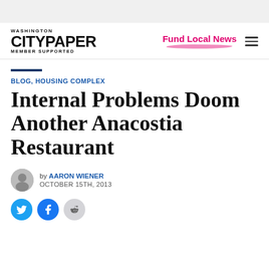Washington City Paper — MEMBER SUPPORTED
Fund Local News
BLOG, HOUSING COMPLEX
Internal Problems Doom Another Anacostia Restaurant
by AARON WIENER — OCTOBER 15TH, 2013